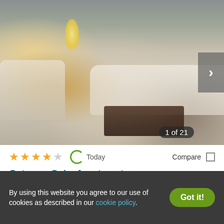[Figure (photo): Interior photo of an apartment living room with cream sofa, armchair, lamp, and rustic wooden trunk coffee table. Shows '1 of 21' counter and navigation arrow.]
★★★★☆   Today   Compare
Gateway Oaks Apartments
1105 N Gateway Blvd, Forney, TX 75126
✓ 8 Units available   ✓ Verified
1 BED   2 BEDS
By using this website you agree to our use of cookies as described in our cookie policy.